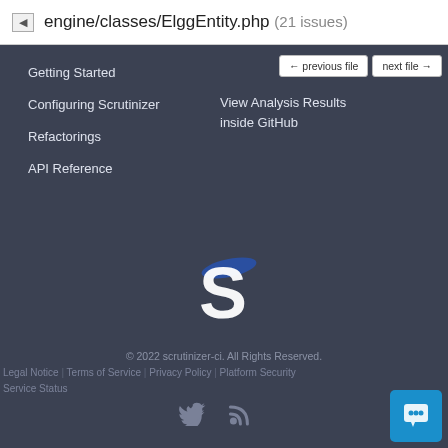engine/classes/ElggEntity.php (21 issues)
Getting Started
Configuring Scrutinizer
Refactorings
API Reference
View Analysis Results inside GitHub
[Figure (logo): Scrutinizer logo - stylized S with blue accent]
© 2022 scrutinizer-ci. All Rights Reserved.
Legal Notice | Terms of Service | Privacy Policy | Platform Security | Service Status
[Figure (illustration): Social icons: Twitter bird and RSS feed icon]